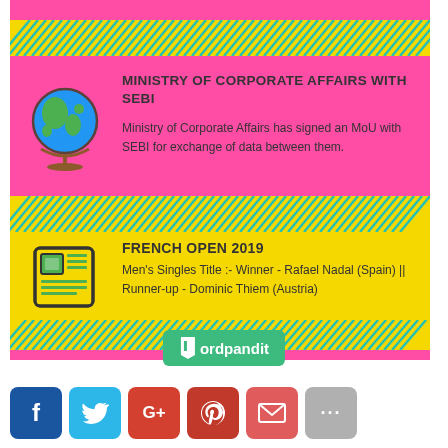[Figure (infographic): Yellow stripe with diagonal cyan slash marks at top of card]
[Figure (illustration): Globe icon showing earth with green landmasses and blue ocean on a stand]
MINISTRY OF CORPORATE AFFAIRS WITH SEBI
Ministry of Corporate Affairs has signed an MoU with SEBI for exchange of data between them.
[Figure (infographic): Yellow stripe with diagonal cyan slash marks in the middle of card]
[Figure (illustration): Newspaper icon in outlined cartoon style with green tones]
FRENCH OPEN 2019
Men's Singles Title :- Winner - Rafael Nadal (Spain) || Runner-up - Dominic Thiem (Austria)
[Figure (infographic): Yellow stripe with diagonal cyan slash marks at bottom of card]
[Figure (logo): Wordpandit logo — green rounded rectangle with bookmark icon and text 'ordpandit']
[Figure (infographic): Social sharing buttons row: Facebook (blue), Twitter (cyan), Google+ (red-orange), Pinterest (dark red), Email (red), More (gray with three dots)]